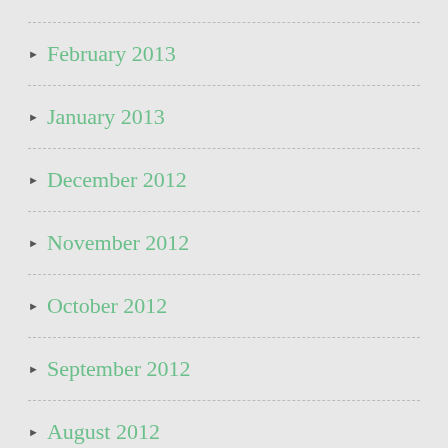February 2013
January 2013
December 2012
November 2012
October 2012
September 2012
August 2012